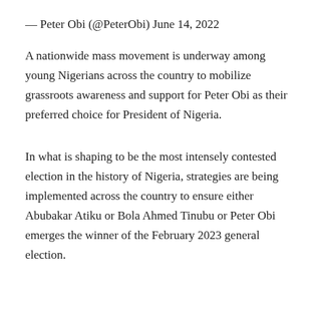— Peter Obi (@PeterObi) June 14, 2022
A nationwide mass movement is underway among young Nigerians across the country to mobilize grassroots awareness and support for Peter Obi as their preferred choice for President of Nigeria.
In what is shaping to be the most intensely contested election in the history of Nigeria, strategies are being implemented across the country to ensure either Abubakar Atiku or Bola Ahmed Tinubu or Peter Obi emerges the winner of the February 2023 general election.